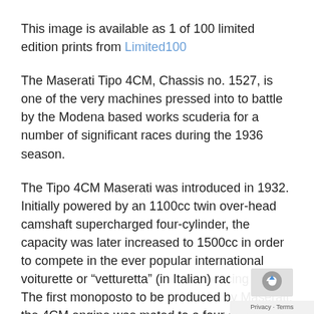This image is available as 1 of 100 limited edition prints from Limited100
The Maserati Tipo 4CM, Chassis no. 1527, is one of the very machines pressed into to battle by the Modena based works scuderia for a number of significant races during the 1936 season.
The Tipo 4CM Maserati was introduced in 1932. Initially powered by an 1100cc twin over-head camshaft supercharged four-cylinder, the capacity was later increased to 1500cc in order to compete in the ever popular international voiturette or “vetturetta” (in Italian) racing class. The first monoposto to be produced by Maserati, the 4CM engine was mated to a four-speed box and the were fitted with a hydraulic braking system, a highly